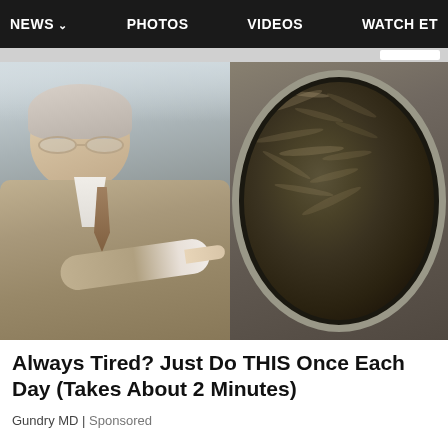NEWS  PHOTOS  VIDEOS  WATCH ET
[Figure (photo): Left: An older man with white hair and glasses wearing a beige suit and tie, pointing to the right toward a pan of food. Right: A close-up of a dark pan filled with sizzling or boiling food/mixture.]
Always Tired? Just Do THIS Once Each Day (Takes About 2 Minutes)
Gundry MD | Sponsored